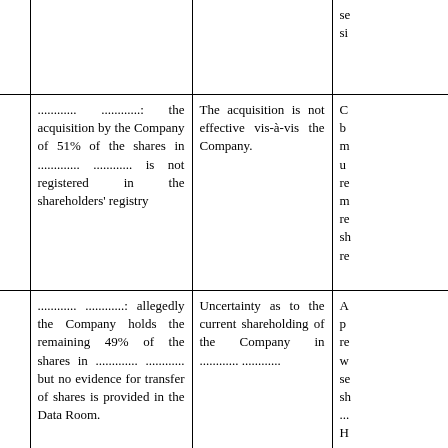|  |  |  | se
si |
| ............ ............: the acquisition by the Company of 51% of the shares in ............. ............ is not registered in the shareholders' registry | The acquisition is not effective vis-à-vis the Company. | C
b
m
u
re
m
re
sh
re |
| ............ ............: allegedly the Company holds the remaining 49% of the shares in ............. ............ but no evidence for transfer of shares is provided in the Data Room. | Uncertainty as to the current shareholding of the Company in ............ ............ | A
p
re
w
se
sh
...
H
p
re
t |